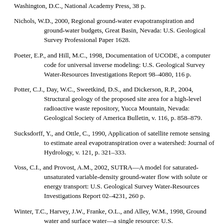Nichols, W.D., 2000, Regional ground-water evapotranspiration and ground-water budgets, Great Basin, Nevada: U.S. Geological Survey Professional Paper 1628.
Poeter, E.P., and Hill, M.C., 1998, Documentation of UCODE, a computer code for universal inverse modeling: U.S. Geological Survey Water-Resources Investigations Report 98–4080, 116 p.
Potter, C.J., Day, W.C., Sweetkind, D.S., and Dickerson, R.P., 2004, Structural geology of the proposed site area for a high-level radioactive waste repository, Yucca Mountain, Nevada: Geological Society of America Bulletin, v. 116, p. 858–879.
Sucksdorff, Y., and Ottle, C., 1990, Application of satellite remote sensing to estimate areal evapotranspiration over a watershed: Journal of Hydrology, v. 121, p. 321–333.
Voss, C.I., and Provost, A.M., 2002, SUTRA—A model for saturated-unsaturated variable-density ground-water flow with solute or energy transport: U.S. Geological Survey Water-Resources Investigations Report 02–4231, 260 p.
Winter, T.C., Harvey, J.W., Franke, O.L., and Alley, W.M., 1998, Ground water and surface water—a single resource: U.S.